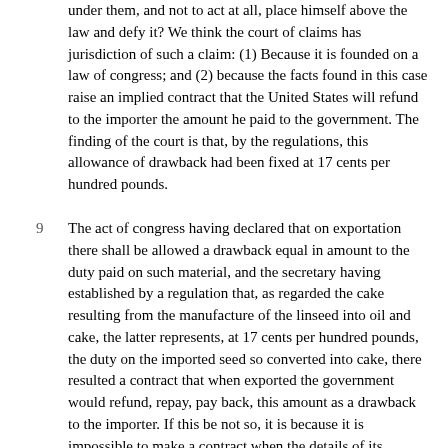under them, and not to act at all, place himself above the law and defy it? We think the court of claims has jurisdiction of such a claim: (1) Because it is founded on a law of congress; and (2) because the facts found in this case raise an implied contract that the United States will refund to the importer the amount he paid to the government. The finding of the court is that, by the regulations, this allowance of drawback had been fixed at 17 cents per hundred pounds.
9  The act of congress having declared that on exportation there shall be allowed a drawback equal in amount to the duty paid on such material, and the secretary having established by a regulation that, as regarded the cake resulting from the manufacture of the linseed into oil and cake, the latter represents, at 17 cents per hundred pounds, the duty on the imported seed so converted into cake, there resulted a contract that when exported the government would refund, repay, pay back, this amount as a drawback to the importer. If this be not so, it is because it is impossible to make a contract when the details of its execution or performance are left to officers who refuse to carry them out. So it is equally clear that this claim is founded on the law allowing drawback. The court of claims makes the mistake of supposing that the claim is founded on the regulations